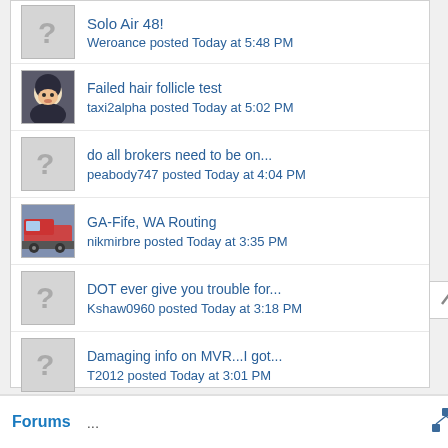Solo Air 48! — Weroance posted Today at 5:48 PM
Failed hair follicle test — taxi2alpha posted Today at 5:02 PM
do all brokers need to be on... — peabody747 posted Today at 4:04 PM
GA-Fife, WA Routing — nikmirbre posted Today at 3:35 PM
DOT ever give you trouble for... — Kshaw0960 posted Today at 3:18 PM
Damaging info on MVR...I got... — T2012 posted Today at 3:01 PM
Where to park my... — Buffalotrucker posted Today at 2:04 PM
Facing issues on curves as new... — mandeepBatth posted Today at 1:54 PM
Forums ...